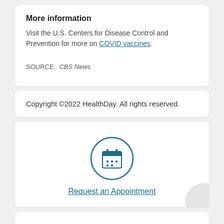More information
Visit the U.S. Centers for Disease Control and Prevention for more on COVID vaccines.
SOURCE: CBS News
Copyright ©2022 HealthDay. All rights reserved.
[Figure (illustration): Calendar icon inside a teal circle, representing appointment scheduling]
Request an Appointment
[Figure (illustration): Partial teal circle icon visible at the bottom of the page (cropped)]